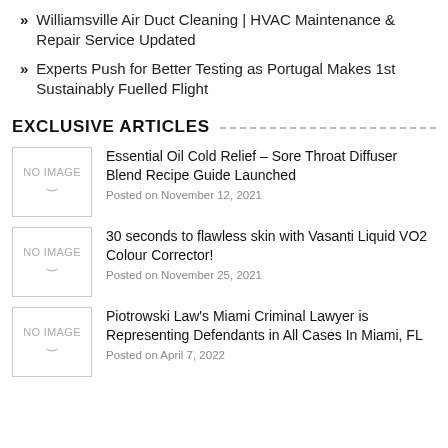Williamsville Air Duct Cleaning | HVAC Maintenance & Repair Service Updated
Experts Push for Better Testing as Portugal Makes 1st Sustainably Fuelled Flight
EXCLUSIVE ARTICLES
[Figure (other): No image placeholder box with 'NO IMAGE' text and smile icon]
Essential Oil Cold Relief – Sore Throat Diffuser Blend Recipe Guide Launched
Posted on November 12, 2021
[Figure (other): No image placeholder box with 'NO IMAGE' text and smile icon]
30 seconds to flawless skin with Vasanti Liquid VO2 Colour Corrector!
Posted on November 25, 2021
[Figure (other): No image placeholder box with 'NO IMAGE' text and smile icon]
Piotrowski Law's Miami Criminal Lawyer is Representing Defendants in All Cases In Miami, FL
Posted on April 7, 2022